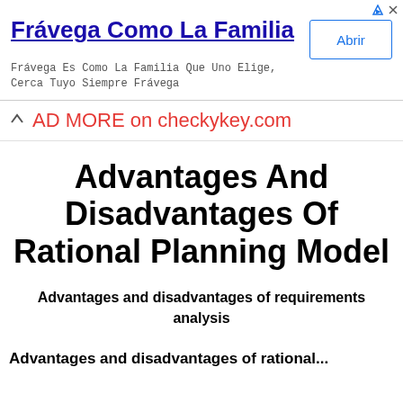[Figure (screenshot): Advertisement banner: 'Frávega Como La Familia' with subtitle 'Frávega Es Como La Familia Que Uno Elige, Cerca Tuyo Siempre Frávega' and an 'Abrir' button]
AD MORE on checkykey.com
Advantages And Disadvantages Of Rational Planning Model
Advantages and disadvantages of requirements analysis
Advantages and disadvantages of rational...